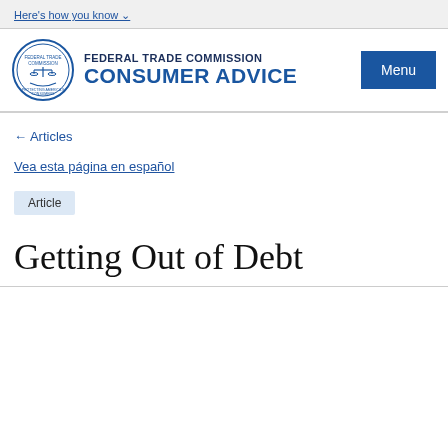Here's how you know
[Figure (logo): Federal Trade Commission Consumer Advice logo with FTC seal and text]
← Articles
Vea esta página en español
Article
Getting Out of Debt